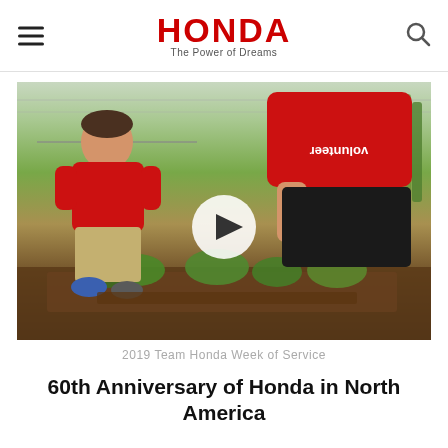HONDA – The Power of Dreams
[Figure (photo): Two volunteers in red shirts tending to plants in a garden/greenhouse setting. A play button overlay is visible in the center of the image.]
2019 Team Honda Week of Service
60th Anniversary of Honda in North America